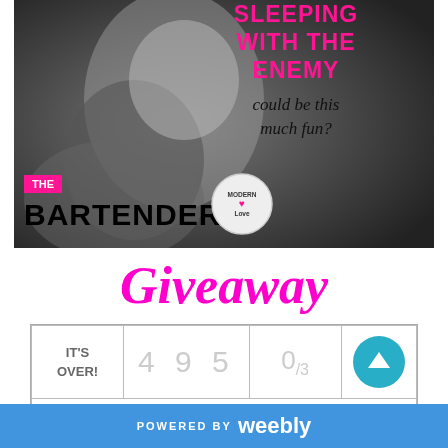[Figure (photo): Book cover for 'The Bartender' from the Modern Love series. Black and white photo of a couple. Pink text reads 'SLEEPING WITH THE ENEMY could be this much fun?' on the right side. Bottom left shows 'THE BARTENDER' title with a Modern Love badge/medallion.]
Giveaway
| IT'S OVER! | 4 9 5 | 0/3 | ↑ |
POWERED BY weebly